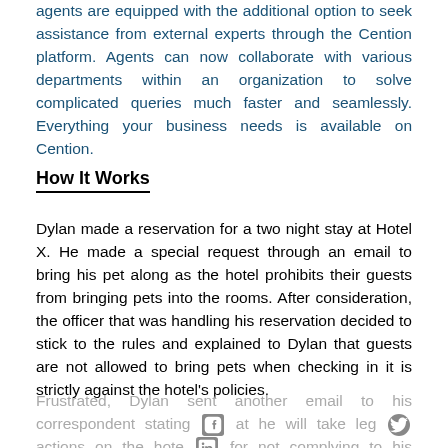agents are equipped with the additional option to seek assistance from external experts through the Cention platform. Agents can now collaborate with various departments within an organization to solve complicated queries much faster and seamlessly. Everything your business needs is available on Cention.
How It Works
Dylan made a reservation for a two night stay at Hotel X. He made a special request through an email to bring his pet along as the hotel prohibits their guests from bringing pets into the rooms. After consideration, the officer that was handling his reservation decided to stick to the rules and explained to Dylan that guests are not allowed to bring pets when checking in it is strictly against the hotel’s policies.
Frustrated, Dylan sent another email to his correspondent stating that he will take legal actions on the hotel for not complying to his request. When the officer in charge saw...